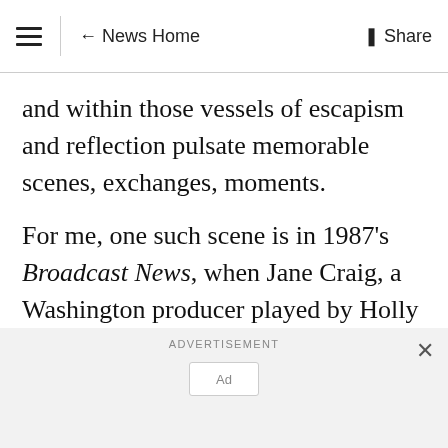≡  ← News Home  Share
and within those vessels of escapism and reflection pulsate memorable scenes, exchanges, moments.
For me, one such scene is in 1987's Broadcast News, when Jane Craig, a Washington producer played by Holly Hunter, is admonished by her network boss after she disagrees with him over who should anchor an important bulletin.
ADVERTISEMENT
Ad